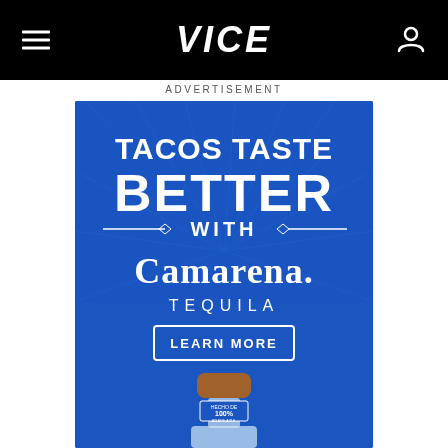VICE
ADVERTISEMENT
[Figure (illustration): Camarena Tequila advertisement on blue background with text: TACOS TASTE BETTER WITH CAMARENA. TEQUILA - LEARN MORE, and a tequila bottle visible at the bottom]